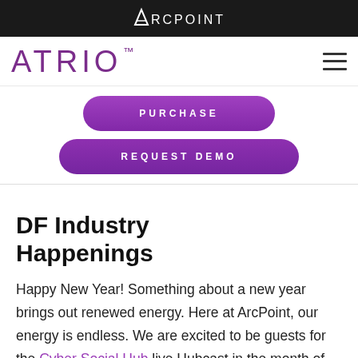ARCPOINT
[Figure (logo): ATRIO trademark logo in purple with hamburger menu icon on the right]
[Figure (other): PURCHASE button (purple pill-shaped button)]
[Figure (other): REQUEST DEMO button (purple pill-shaped button)]
DF Industry Happenings
Happy New Year! Something about a new year brings out renewed energy. Here at ArcPoint, our energy is endless. We are excited to be guests for the Cyber Social Hub live Hubcast in the month of